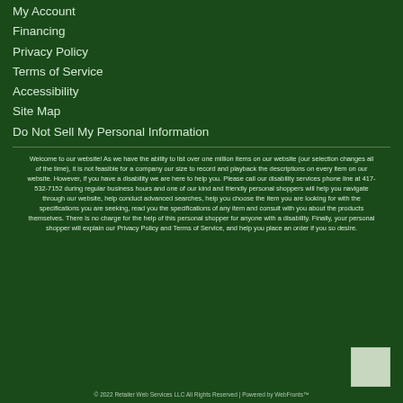My Account
Financing
Privacy Policy
Terms of Service
Accessibility
Site Map
Do Not Sell My Personal Information
Welcome to our website! As we have the ability to list over one million items on our website (our selection changes all of the time), it is not feasible for a company our size to record and playback the descriptions on every item on our website. However, if you have a disability we are here to help you. Please call our disability services phone line at 417-532-7152 during regular business hours and one of our kind and friendly personal shoppers will help you navigate through our website, help conduct advanced searches, help you choose the item you are looking for with the specifications you are seeking, read you the specifications of any item and consult with you about the products themselves. There is no charge for the help of this personal shopper for anyone with a disability. Finally, your personal shopper will explain our Privacy Policy and Terms of Service, and help you place an order if you so desire.
© 2022 Retailer Web Services LLC All Rights Reserved | Powered by WebFronts™